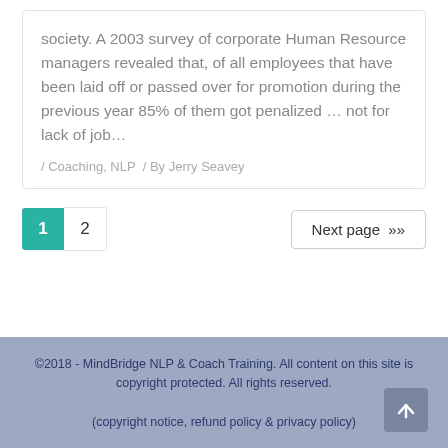society. A 2003 survey of corporate Human Resource managers revealed that, of all employees that have been laid off or passed over for promotion during the previous year 85% of them got penalized … not for lack of job…
/ Coaching, NLP / By Jerry Seavey
1  2  Next page »»
©2018 - MindBridge NLP & Coach Training. All content on this site is copyright protected. All rights reserved. (copyright notice, refund policy & privacy policy)